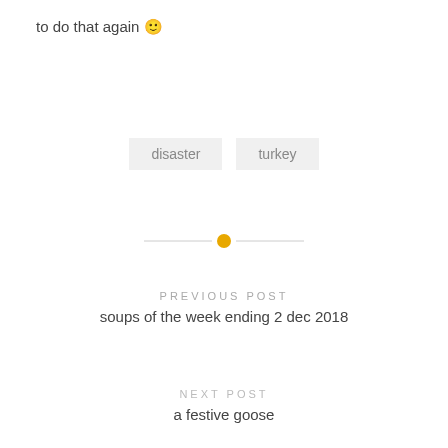to do that again 🙂
disaster
turkey
[Figure (other): Horizontal divider line with a yellow/gold dot in the center]
PREVIOUS POST
soups of the week ending 2 dec 2018
NEXT POST
a festive goose